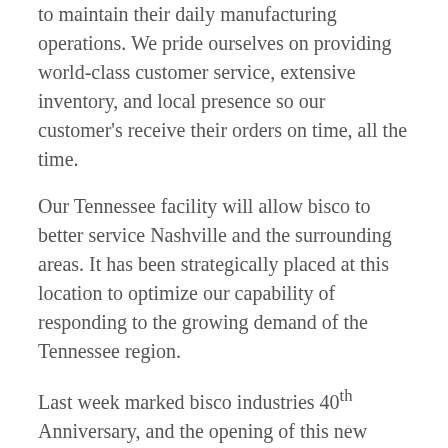to maintain their daily manufacturing operations. We pride ourselves on providing world-class customer service, extensive inventory, and local presence so our customer's receive their orders on time, all the time.
Our Tennessee facility will allow bisco to better service Nashville and the surrounding areas. It has been strategically placed at this location to optimize our capability of responding to the growing demand of the Tennessee region.
Last week marked bisco industries 40th Anniversary, and the opening of this new facility is a validation of our hard work and continued growth throughout the years. We will continue to expand and adapt to meet our customers ever changing requirements. The future is bright for bisco industries.